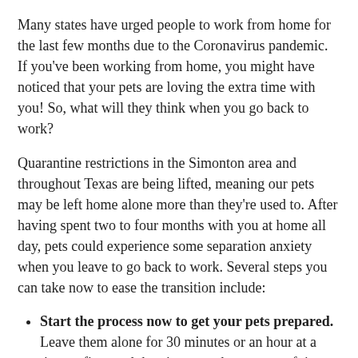Many states have urged people to work from home for the last few months due to the Coronavirus pandemic. If you've been working from home, you might have noticed that your pets are loving the extra time with you! So, what will they think when you go back to work?
Quarantine restrictions in the Simonton area and throughout Texas are being lifted, meaning our pets may be left home alone more than they're used to. After having spent two to four months with you at home all day, pets could experience some separation anxiety when you leave to go back to work. Several steps you can take now to ease the transition include:
Start the process now to get your pets prepared. Leave them alone for 30 minutes or an hour at a time at first, and then increase the amount of time as they get more comfortable.
Keep a set schedule. Try getting up at the